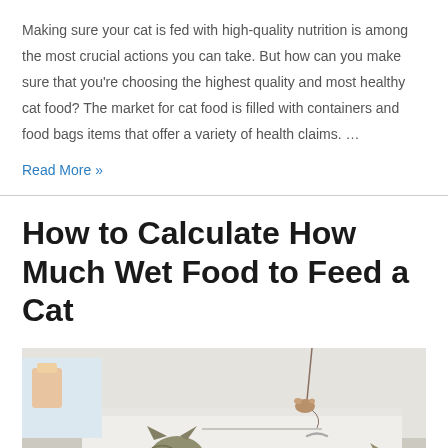Making sure your cat is fed with high-quality nutrition is among the most crucial actions you can take. But how can you make sure that you're choosing the highest quality and most healthy cat food? The market for cat food is filled with containers and food bags items that offer a variety of health claims. …
Read More »
How to Calculate How Much Wet Food to Feed a Cat
[Figure (photo): A photo of cats playing indoors, with a toy mouse hanging from above. Two cats are visible, one tabby cat looking up at the toy, in a white room with colorful items in the background.]